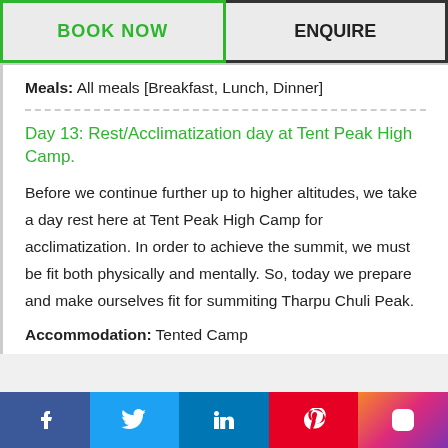BOOK NOW
ENQUIRE
Meals: All meals [Breakfast, Lunch, Dinner]
Day 13: Rest/Acclimatization day at Tent Peak High Camp.
Before we continue further up to higher altitudes, we take a day rest here at Tent Peak High Camp for acclimatization. In order to achieve the summit, we must be fit both physically and mentally. So, today we prepare and make ourselves fit for summiting Tharpu Chuli Peak.
Accommodation: Tented Camp